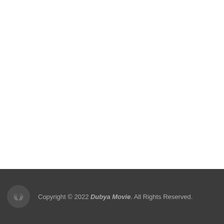Website
Comment
Copyright © 2022 Dubya Movie. All Rights Reserved.